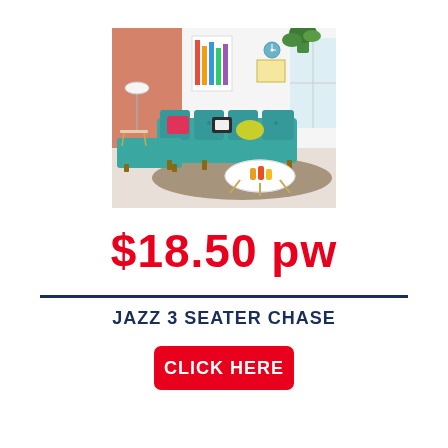[Figure (photo): A teal/turquoise L-shaped sectional sofa (chaise lounge) with colorful accent pillows in a bright modern living room with a coral/pink accent wall, plants, a round white coffee table, and a patterned rug.]
$18.50 pw
JAZZ 3 SEATER CHASE
CLICK HERE